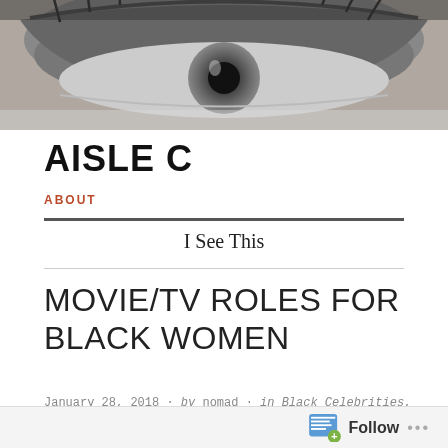[Figure (photo): Close-up black and white photograph of a human eye, partially closed, showing eyelashes and iris detail.]
AISLE C
ABOUT
I See This
MOVIE/TV ROLES FOR BLACK WOMEN
January 28, 2018 · by nomad · in Black Celebrities, Race · Leave a comment